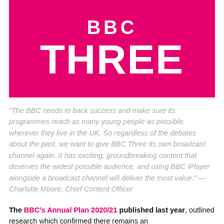[Figure (logo): BBC Three logo on a hot pink/magenta background. White bold text 'BBC' on top, large bold white text 'THREE' below.]
“The BBC needs to back success and make sure its programmes reach as many young people as possible, wherever they live in the UK. So regardless of the debates about the past, we want to give BBC Three its own broadcast channel again. It has exciting, groundbreaking content that deserves the widest possible audience, and using BBC iPlayer alongside a broadcast channel will deliver the most value.” — Charlotte Moore, Chief Content Officer
The BBC’s Annual Plan 2020/21 published last year, outlined research which confirmed there remains an